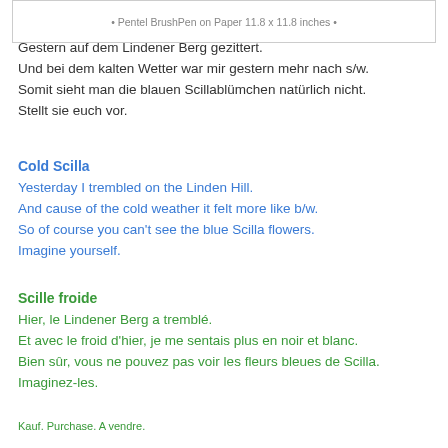• Pentel BrushPen on Paper 11.8 x 11.8 inches •
Gestern auf dem Lindener Berg gezittert.
Und bei dem kalten Wetter war mir gestern mehr nach s/w.
Somit sieht man die blauen Scillablümchen natürlich nicht.
Stellt sie euch vor.
Cold Scilla
Yesterday I trembled on the Linden Hill.
And cause of the cold weather it felt more like b/w.
So of course you can't see the blue Scilla flowers.
Imagine yourself.
Scille froide
Hier, le Lindener Berg a tremblé.
Et avec le froid d'hier, je me sentais plus en noir et blanc.
Bien sûr, vous ne pouvez pas voir les fleurs bleues de Scilla.
Imaginez-les.
Kauf. Purchase. A vendre.